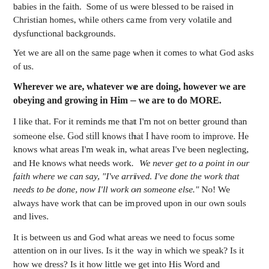babies in the faith.  Some of us were blessed to be raised in Christian homes, while others came from very volatile and dysfunctional backgrounds.
Yet we are all on the same page when it comes to what God asks of us.
Wherever we are, whatever we are doing, however we are obeying and growing in Him – we are to do MORE.
I like that. For it reminds me that I'm not on better ground than someone else. God still knows that I have room to improve. He knows what areas I'm weak in, what areas I've been neglecting, and He knows what needs work.  We never get to a point in our faith where we can say, "I've arrived. I've done the work that needs to be done, now I'll work on someone else." No! We always have work that can be improved upon in our own souls and lives.
It is between us and God what areas we need to focus some attention on in our lives. Is it the way in which we speak? Is it how we dress? Is it how little we get into His Word and